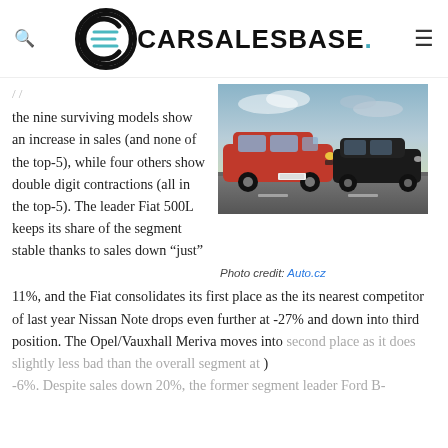CARSALESBASE.
the nine surviving models show an increase in sales (and none of the top-5), while four others show double digit contractions (all in the top-5). The leader Fiat 500L keeps its share of the segment stable thanks to sales down “just” 11%, and the Fiat consolidates its first place as the its nearest competitor of last year Nissan Note drops even further at -27% and down into third position. The Opel/Vauxhall Meriva moves into second place as it does slightly less bad than the overall segment at -6%. Despite sales down 20%, the former segment leader Ford B-
[Figure (photo): Photo of a red Opel Meriva and a black Fiat 500L on a tarmac with open sky background]
Photo credit: Auto.cz